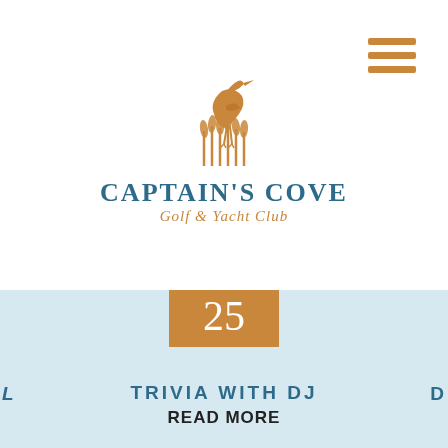[Figure (logo): Captain's Cove Golf & Yacht Club logo with heron bird silhouette in orange/amber color above the text]
CAPTAIN'S COVE
Golf & Yacht Club
[Figure (other): Hamburger menu icon with three horizontal amber/orange bars]
[Figure (other): Date badge: AUG 25 in orange square]
TRIVIA WITH DJ DECIBULL
Every other Thursday all Summer Long, DJ Decibull will bring Trivia to The Marina Restaurant! 6:30...
READ MORE